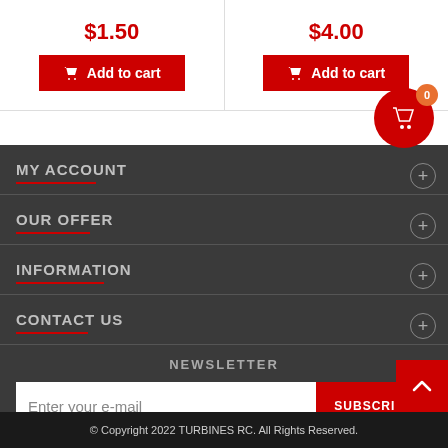$1.50
$4.00
Add to cart
Add to cart
MY ACCOUNT
OUR OFFER
INFORMATION
CONTACT US
NEWSLETTER
Enter your e-mail
SUBSCRIBE
© Copyright 2022 TURBINES RC. All Rights Reserved.